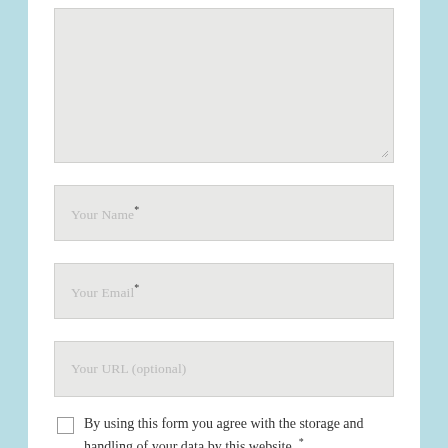[Figure (screenshot): Large textarea input box with resize handle at bottom right, grey background]
Your Name*
Your Email*
Your URL (optional)
By using this form you agree with the storage and handling of your data by this website..*